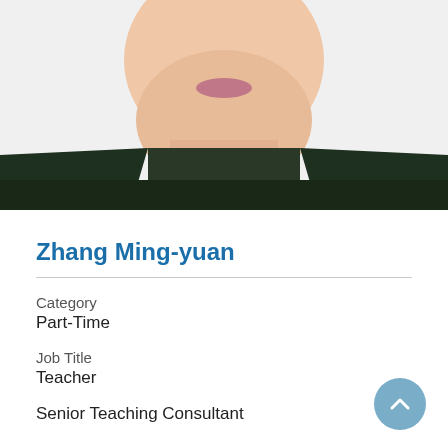[Figure (photo): Cropped portrait photo of Zhang Ming-yuan showing lower face, chin, neck with pearl necklace, and dark clothing/jacket at the bottom]
Zhang Ming-yuan
Category
Part-Time
Job Title
Teacher
Senior Teaching Consultant